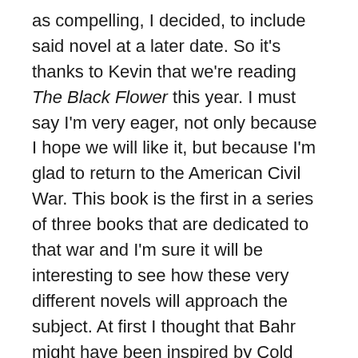as compelling, I decided, to include said novel at a later date. So it's thanks to Kevin that we're reading The Black Flower this year. I must say I'm very eager, not only because I hope we will like it, but because I'm glad to return to the American Civil War. This book is the first in a series of three books that are dedicated to that war and I'm sure it will be interesting to see how these very different novels will approach the subject. At first I thought that Bahr might have been inspired by Cold Mountain but since both books were published in 1997, I'd say that wasn't the case.
Howard Bahr was a school teacher before he started to write. The Black Flower was his first novel. He's written other novels since then and they all received awards.
Here are the first sentences